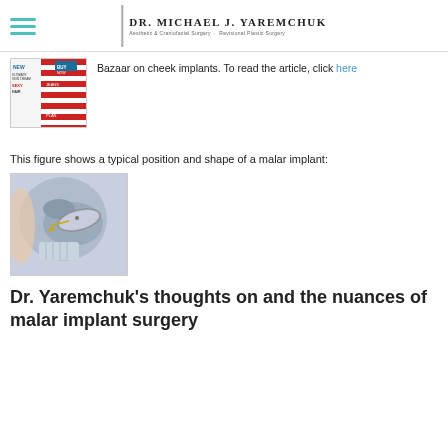Dr. Michael J. Yaremchuk – Aesthetic & Craniofacial Surgery · Revisional Plastic Surgery
[Figure (photo): Harper's Bazaar magazine cover thumbnail with red and white stripes]
Bazaar on cheek implants. To read the article, click here
This figure shows a typical position and shape of a malar implant:
[Figure (illustration): Medical illustration showing a typical position and shape of a malar (cheek) implant on a facial skull cross-section with an oval implant placed on the cheekbone]
Dr. Yaremchuk's thoughts on and the nuances of malar implant surgery